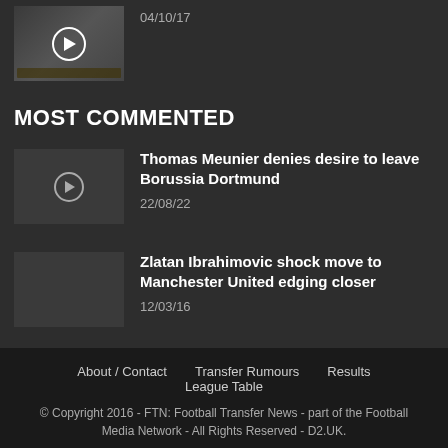[Figure (photo): Thumbnail image with play button overlay, dated 04/10/17]
04/10/17
MOST COMMENTED
[Figure (photo): Video thumbnail with play button for Thomas Meunier article]
Thomas Meunier denies desire to leave Borussia Dortmund
22/08/22
Zlatan Ibrahimovic shock move to Manchester United edging closer
12/03/16
About / Contact   Transfer Rumours   Results   League Table
© Copyright 2016 - FTN: Football Transfer News - part of the Football Media Network - All Rights Reserved - D2.UK.